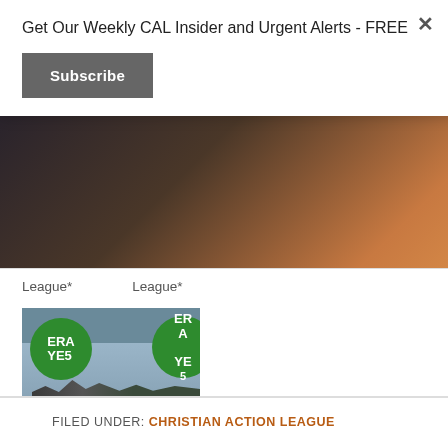Get Our Weekly CAL Insider and Urgent Alerts - FREE
Subscribe
League*
League*
[Figure (photo): Photo of protesters holding green circular ERA YES signs]
Virginia Passes ERA; Thankfully, Its 38 Years Too Late
January 17, 2020
In "Featured"
FILED UNDER: CHRISTIAN ACTION LEAGUE